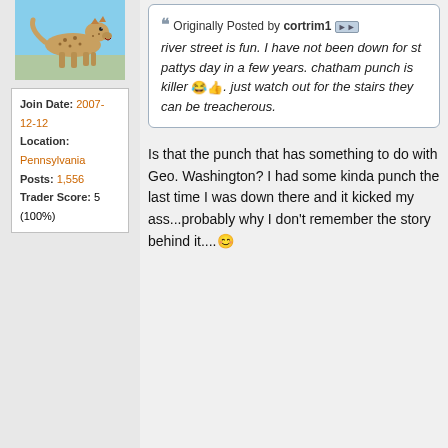[Figure (photo): Avatar image of a cheetah or leopard running against a blue sky background]
Join Date: 2007-12-12
Location: Pennsylvania
Posts: 1,556
Trader Score: 5 (100%)
Originally Posted by cortrim1
river street is fun. I have not been down for st pattys day in a few years. chatham punch is killer 😂👍. just watch out for the stairs they can be treacherous.
Is that the punch that has something to do with Geo. Washington? I had some kinda punch the last time I was down there and it kicked my ass...probably why I don't remember the story behind it....😊